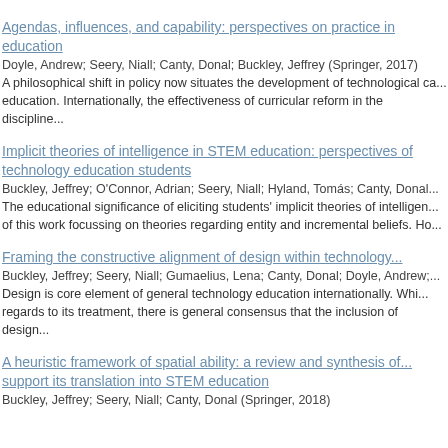Agendas, influences, and capability: perspectives on practice in education
Doyle, Andrew; Seery, Niall; Canty, Donal; Buckley, Jeffrey (Springer, 2017)
A philosophical shift in policy now situates the development of technological capability within general education. Internationally, the effectiveness of curricular reform in the discipline...
Implicit theories of intelligence in STEM education: perspectives of technology education students
Buckley, Jeffrey; O'Connor, Adrian; Seery, Niall; Hyland, Tomás; Canty, Donal...
The educational significance of eliciting students' implicit theories of intelligence... of this work focussing on theories regarding entity and incremental beliefs. Ho...
Framing the constructive alignment of design within technology...
Buckley, Jeffrey; Seery, Niall; Gumaelius, Lena; Canty, Donal; Doyle, Andrew;...
Design is core element of general technology education internationally. While there is much debate with regards to its treatment, there is general consensus that the inclusion of design...
A heuristic framework of spatial ability: a review and synthesis of... support its translation into STEM education
Buckley, Jeffrey; Seery, Niall; Canty, Donal (Springer, 2018)